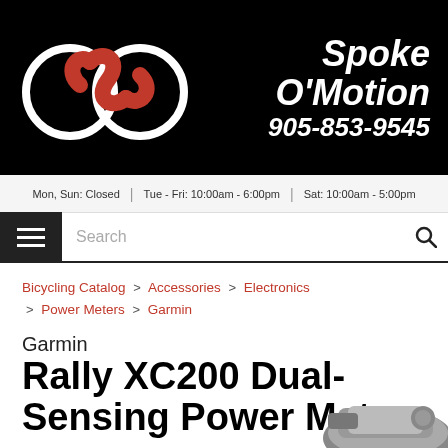[Figure (logo): Spoke O'Motion bicycle shop logo with stylized 'SO' in white circles with red S-curve, and italic white text 'Spoke O'Motion' with phone number 905-853-9545 on black background]
Mon, Sun: Closed | Tue - Fri: 10:00am - 6:00pm | Sat: 10:00am - 5:00pm
Search
Bicycling Catalog > Accessories > Electronics > Power Meters > Garmin
Garmin
Rally XC200 Dual-Sensing Power Meter